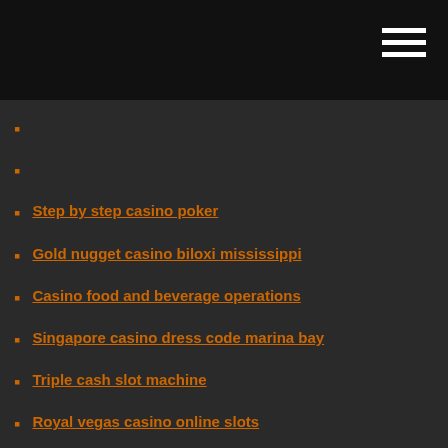Step by step casino poker
Gold nugget casino biloxi mississippi
Casino food and beverage operations
Singapore casino dress code marina bay
Triple cash slot machine
Royal vegas casino online slots
Baton rouge boat club poker run
Free slots no download no registration at double down casino
Connecticut alliance against casino expansion
Black jack group group campground
Black jack casino style game not online